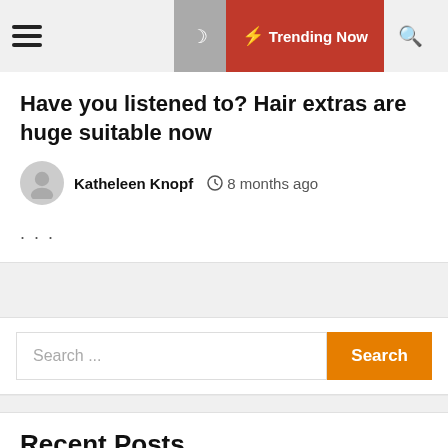Trending Now
Have you listened to? Hair extras are huge suitable now
Katheleen Knopf  8 months ago
...
Search ...
Recent Posts
We use cookies on our website to give you the most relevant experience by remembering your preferences and repeat visits.